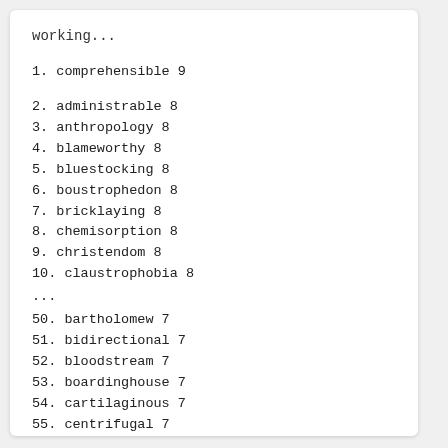working...
1. comprehensible 9
2. administrable 8
3. anthropology 8
4. blameworthy 8
5. bluestocking 8
6. boustrophedon 8
7. bricklaying 8
8. chemisorption 8
9. christendom 8
10. claustrophobia 8
...
50. bartholomew 7
51. bidirectional 7
52. bloodstream 7
53. boardinghouse 7
54. cartilaginous 7
55. centrifugal 7
56. chamberlain 7
57. charlemagne 7
58. clairvoyant 7